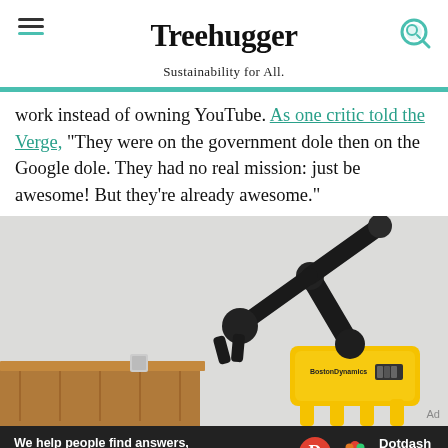Treehugger
Sustainability for All.
work instead of owning YouTube. As one critic told the Verge, "They were on the government dole then on the Google dole. They had no real mission: just be awesome! But they're already awesome."
[Figure (photo): Boston Dynamics Spot robot dog with articulated arm attachment reaching toward a wooden table/cabinet surface against a light gray background.]
We help people find answers, solve problems and get inspired. Dotdash meredith